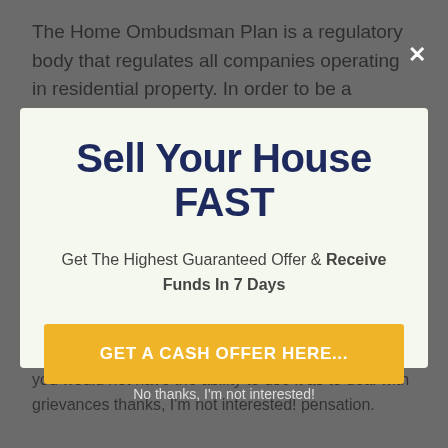The Home Ombudsman Plan is a regulatory body that regulates all companies operating in residential property. In order to be a member as
Sell Your House FAST
Get The Highest Guaranteed Offer & Receive Funds In 7 Days
GET A CASH OFFER HERE...
you would not have the ability to use it as to deal with grievances thanks, I'm not interested! pensation.
No thanks, I'm not interested!